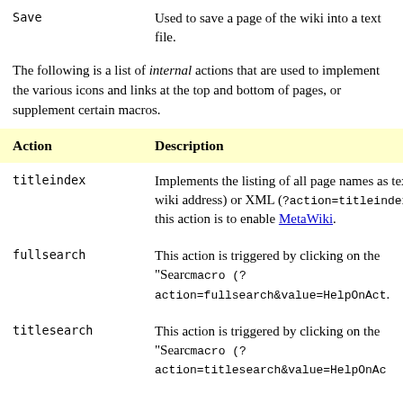|  |  |
| --- | --- |
| Save | Used to save a page of the wiki into a text file. |
The following is a list of internal actions that are used to implement the various icons and links at the top and bottom of pages, or supplement certain macros.
| Action | Description |
| --- | --- |
| titleindex | Implements the listing of all page names as text (a wiki address) or XML (?action=titleindex&mi... this action is to enable MetaWiki. |
| fullsearch | This action is triggered by clicking on the "Search macro (?action=fullsearch&value=HelpOnAct... |
| titlesearch | This action is triggered by clicking on the "Search macro (?action=titlesearch&value=HelpOnAc... |